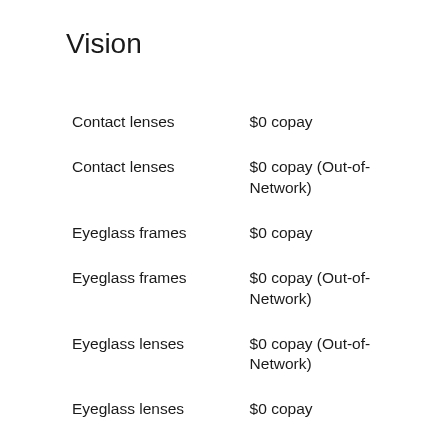Vision
| Contact lenses | $0 copay |
| Contact lenses | $0 copay (Out-of-Network) |
| Eyeglass frames | $0 copay |
| Eyeglass frames | $0 copay (Out-of-Network) |
| Eyeglass lenses | $0 copay (Out-of-Network) |
| Eyeglass lenses | $0 copay |
| Eyeglasses (frames and | $0 copay (Out-of- |